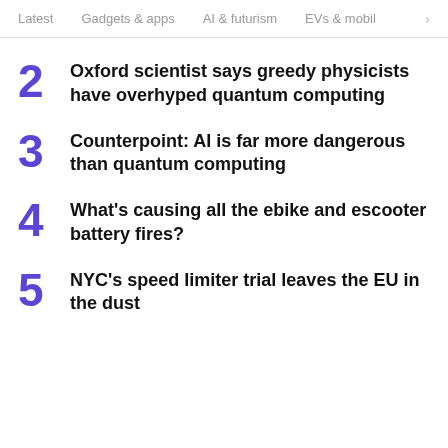Latest  Gadgets & apps  AI & futurism  EVs & mobil  >
2  Oxford scientist says greedy physicists have overhyped quantum computing
3  Counterpoint: AI is far more dangerous than quantum computing
4  What's causing all the ebike and escooter battery fires?
5  NYC's speed limiter trial leaves the EU in the dust